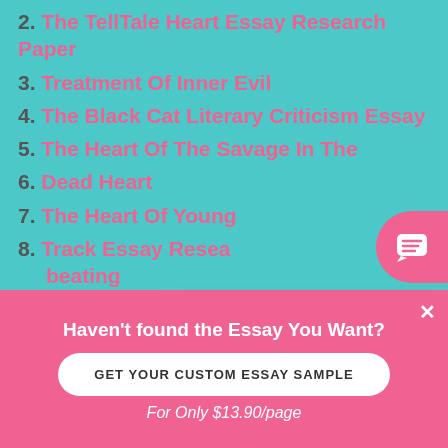2. The TellTale Heart Essay Research Paper
3. Treatment Of Inner Evil
4. The Black Cat Literary Criticism Essay
5. The Heart Of The Savage In The
6. Dead Heart
7. The Heart Of Young
8. Track Essay Research beating
9. The Values Of A Na
POST A COMMENT
[Figure (screenshot): Chat popup with avatar photo of Katy. Header is pink with Hi! I'm Katy. Body says: Would you like to get such a paper? How about receiving a customized one? Check it out]
Haven't found the Essay You Want?
GET YOUR CUSTOM ESSAY SAMPLE
For Only $13.90/page